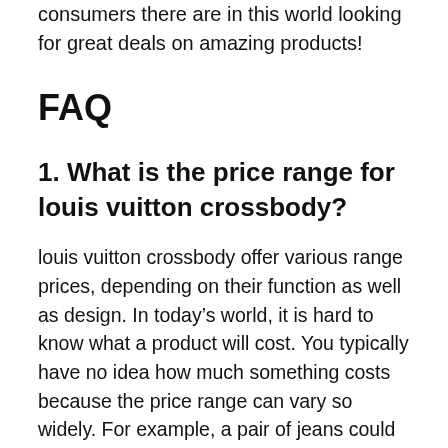consumers there are in this world looking for great deals on amazing products!
FAQ
1. What is the price range for louis vuitton crossbody?
louis vuitton crossbody offer various range prices, depending on their function as well as design. In today’s world, it is hard to know what a product will cost. You typically have no idea how much something costs because the price range can vary so widely. For example, a pair of jeans could be $20-$200 depending on who you buy them from and